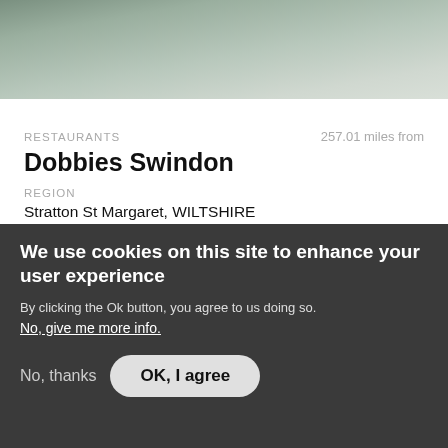[Figure (photo): Top portion of a food/restaurant photo, partially visible]
RESTAURANTS
257.01 miles from
Dobbies Swindon
REGION
Stratton St Margaret, WILTSHIRE
VERIFIED
COVID CONFIDENT
[Figure (logo): AA yellow logo badge with text 'AA Recommended']
[Figure (logo): AA Covid Confident shield badge]
Find out more →
We use cookies on this site to enhance your user experience
By clicking the Ok button, you agree to us doing so.
No, give me more info.
No, thanks
OK, I agree